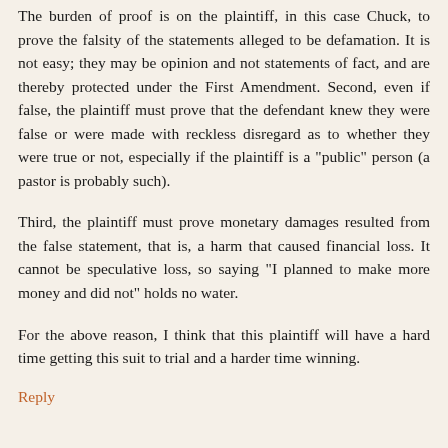The burden of proof is on the plaintiff, in this case Chuck, to prove the falsity of the statements alleged to be defamation. It is not easy; they may be opinion and not statements of fact, and are thereby protected under the First Amendment. Second, even if false, the plaintiff must prove that the defendant knew they were false or were made with reckless disregard as to whether they were true or not, especially if the plaintiff is a "public" person (a pastor is probably such).
Third, the plaintiff must prove monetary damages resulted from the false statement, that is, a harm that caused financial loss. It cannot be speculative loss, so saying "I planned to make more money and did not" holds no water.
For the above reason, I think that this plaintiff will have a hard time getting this suit to trial and a harder time winning.
Reply
Anonymous May 21, 2012 at 1:14 PM
To me, this whole scenario exposes the church as being